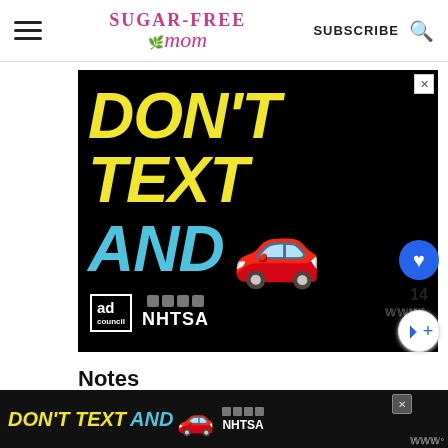Sugar-Free Mom | SUBSCRIBE
[Figure (screenshot): Advertisement banner: 'DON'T TEXT AND [car emoji]' with Ad Council and NHTSA logos on black background]
Notes
Net Carb: 4g
[Figure (screenshot): Bottom banner advertisement: 'DON'T TEXT AND [car emoji]' with Ad Council and NHTSA logos on dark background]